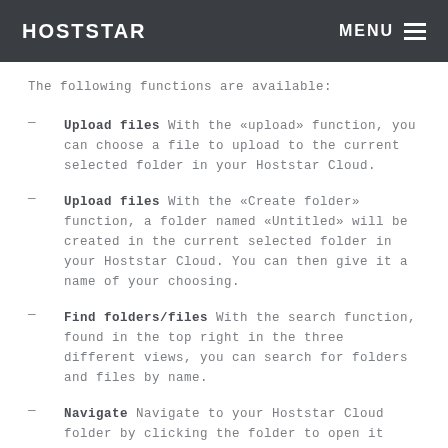HOSTSTAR   MENU
The following functions are available:
Upload files With the «upload» function, you can choose a file to upload to the current selected folder in your Hoststar Cloud.
Upload files With the «Create folder» function, a folder named «Untitled» will be created in the current selected folder in your Hoststar Cloud. You can then give it a name of your choosing.
Find folders/files With the search function, found in the top right in the three different views, you can search for folders and files by name.
Navigate Navigate to your Hoststar Cloud folder by clicking the folder to open it once, or use your browser's «back» function to return to the previous